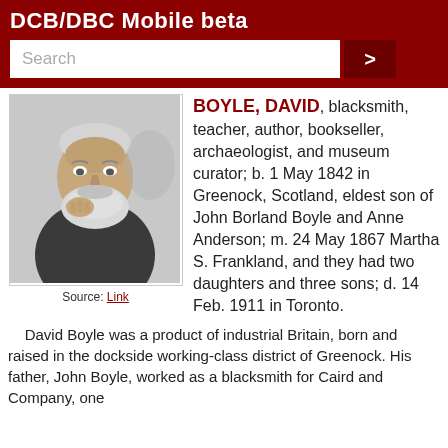DCB/DBC Mobile beta
[Figure (photo): Black and white portrait photograph of David Boyle, an older bearded man resting his chin on his hand]
Source: Link
BOYLE, DAVID
blacksmith, teacher, author, bookseller, archaeologist, and museum curator; b. 1 May 1842 in Greenock, Scotland, eldest son of John Borland Boyle and Anne Anderson; m. 24 May 1867 Martha S. Frankland, and they had two daughters and three sons; d. 14 Feb. 1911 in Toronto.
David Boyle was a product of industrial Britain, born and raised in the dockside working-class district of Greenock. His father, John Boyle, worked as a blacksmith for Caird and Company, one